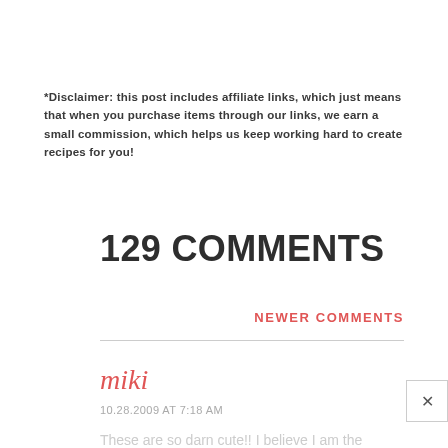*Disclaimer: this post includes affiliate links, which just means that when you purchase items through our links, we earn a small commission, which helps us keep working hard to create recipes for you!
129 COMMENTS
NEWER COMMENTS
miki
10.28.2009 AT 7:18 AM
These are so darn cute!! I believe I am the worlds